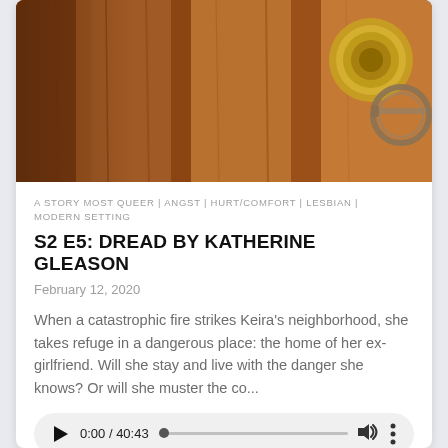[Figure (photo): Close-up photograph of a wooden door with a brass lock and keys on a keyring, warm brown tones]
A STORY MOST QUEER | ANGST | HURT/COMFORT | LESBIAN | MODERN SETTING
S2 E5: DREAD BY KATHERINE GLEASON
February 12, 2020
When a catastrophic fire strikes Keira's neighborhood, she takes refuge in a dangerous place: the home of her ex-girlfriend. Will she stay and live with the danger she knows? Or will she muster the co...
[Figure (screenshot): Audio player UI showing 0:00 / 40:43 with play button, progress bar, volume and more icons]